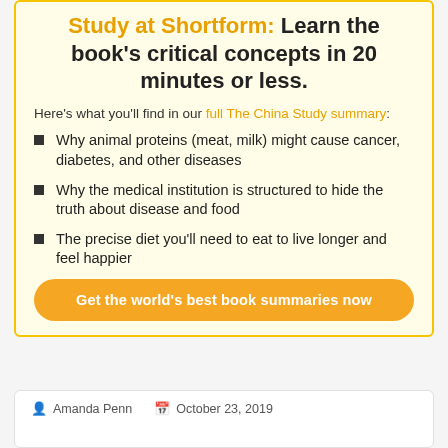Study at Shortform: Learn the book's critical concepts in 20 minutes or less.
Here's what you'll find in our full The China Study summary:
Why animal proteins (meat, milk) might cause cancer, diabetes, and other diseases
Why the medical institution is structured to hide the truth about disease and food
The precise diet you'll need to eat to live longer and feel happier
Get the world's best book summaries now
Amanda Penn   October 23, 2019